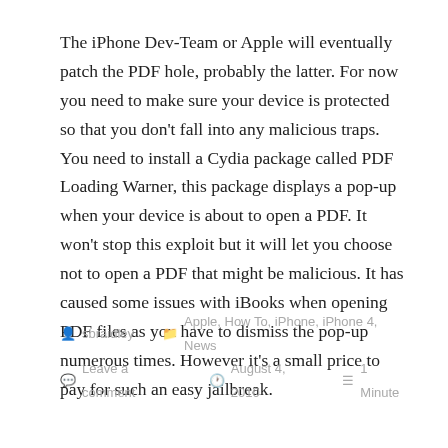The iPhone Dev-Team or Apple will eventually patch the PDF hole, probably the latter. For now you need to make sure your device is protected so that you don't fall into any malicious traps. You need to install a Cydia package called PDF Loading Warner, this package displays a pop-up when your device is about to open a PDF. It won't stop this exploit but it will let you choose not to open a PDF that might be malicious. It has caused some issues with iBooks when opening PDF files as you have to dismiss the pop-up numerous times. However it's a small price to pay for such an easy jailbreak.
sbraidley   Apple, How To, iPhone, iPhone 4, News   Leave a comment   August 4, 2010   1 Minute